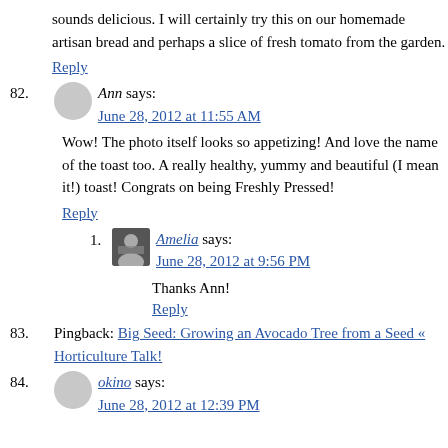sounds delicious. I will certainly try this on our homemade artisan bread and perhaps a slice of fresh tomato from the garden.
Reply
82. Ann says: June 28, 2012 at 11:55 AM
Wow! The photo itself looks so appetizing! And love the name of the toast too. A really healthy, yummy and beautiful (I mean it!) toast! Congrats on being Freshly Pressed!
Reply
1. Amelia says: June 28, 2012 at 9:56 PM
Thanks Ann!
Reply
83. Pingback: Big Seed: Growing an Avocado Tree from a Seed « Horticulture Talk!
84. okino says: June 28, 2012 at 12:39 PM